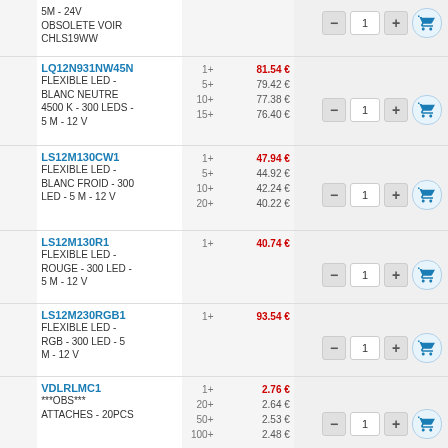| Image | Description | Pricing | Action |
| --- | --- | --- | --- |
|  | 5M - 24V OBSOLETE VOIR CHLS19WW |  |  |
|  | LQ12N931NW45N
FLEXIBLE LED - BLANC NEUTRE 4500 K - 300 LEDS - 5 M - 12 V | 1+ 81.54€ / 5+ 79.42€ / 10+ 77.38€ / 15+ 76.40€ | - 1 + |
|  | LS12M130CW1
FLEXIBLE LED - BLANC FROID - 300 LED - 5 M - 12 V | 1+ 47.94€ / 5+ 44.92€ / 10+ 42.24€ / 20+ 40.22€ | - 1 + |
|  | LS12M130R1
FLEXIBLE LED - ROUGE - 300 LED - 5 M - 12 V | 1+ 40.74€ | - 1 + |
|  | LS12M230RGB1
FLEXIBLE LED - RGB - 300 LED - 5 M - 12 V | 1+ 93.54€ | - 1 + |
|  | VDLRLMC1
***OBS*** ATTACHES - 20PCS | 1+ 2.76€ / 20+ 2.64€ / 50+ 2.53€ / 100+ 2.48€ | - 1 + |
|  | VM161
VARIATEUR ET SELECTEUR DE COULEUR POUR LED RVB - À UTILISER AVEC LA TÉLÉCOMMANDE VM118R | 1+ 23.88€ | - 1 + |